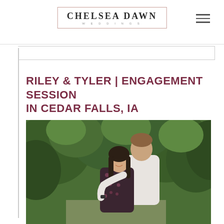CHELSEA DAWN WEDDINGS
RILEY & TYLER | ENGAGEMENT SESSION IN CEDAR FALLS, IA
[Figure (photo): An engaged couple embracing outdoors. A woman with long dark hair in a floral dress leans her head against a tall man in a light grey sweater. They stand in front of lush green trees/foliage in a natural outdoor setting.]